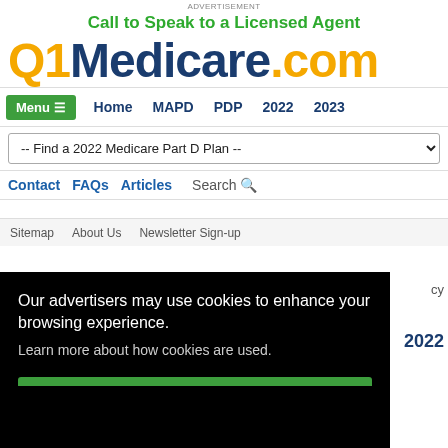Advertisement
Call to Speak to a Licensed Agent
[Figure (logo): Q1Medicare.com logo with Q1 in orange, Medicare in dark navy, .com in orange]
Menu | Home | MAPD | PDP | 2022 | 2023
-- Find a 2022 Medicare Part D Plan --
Contact  FAQs  Articles  Search
Sitemap  About Us  Newsletter Sign-up
Our advertisers may use cookies to enhance your browsing experience.
Learn more about how cookies are used.
Agree